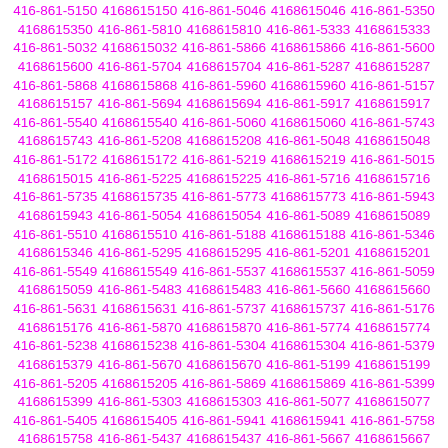416-861-5150 4168615150 416-861-5046 4168615046 416-861-5350 4168615350 416-861-5810 4168615810 416-861-5333 4168615333 416-861-5032 4168615032 416-861-5866 4168615866 416-861-5600 4168615600 416-861-5704 4168615704 416-861-5287 4168615287 416-861-5868 4168615868 416-861-5960 4168615960 416-861-5157 4168615157 416-861-5694 4168615694 416-861-5917 4168615917 416-861-5540 4168615540 416-861-5060 4168615060 416-861-5743 4168615743 416-861-5208 4168615208 416-861-5048 4168615048 416-861-5172 4168615172 416-861-5219 4168615219 416-861-5015 4168615015 416-861-5225 4168615225 416-861-5716 4168615716 416-861-5735 4168615735 416-861-5773 4168615773 416-861-5943 4168615943 416-861-5054 4168615054 416-861-5089 4168615089 416-861-5510 4168615510 416-861-5188 4168615188 416-861-5346 4168615346 416-861-5295 4168615295 416-861-5201 4168615201 416-861-5549 4168615549 416-861-5537 4168615537 416-861-5059 4168615059 416-861-5483 4168615483 416-861-5660 4168615660 416-861-5631 4168615631 416-861-5737 4168615737 416-861-5176 4168615176 416-861-5870 4168615870 416-861-5774 4168615774 416-861-5238 4168615238 416-861-5304 4168615304 416-861-5379 4168615379 416-861-5670 4168615670 416-861-5199 4168615199 416-861-5205 4168615205 416-861-5869 4168615869 416-861-5399 4168615399 416-861-5303 4168615303 416-861-5077 4168615077 416-861-5405 4168615405 416-861-5941 4168615941 416-861-5758 4168615758 416-861-5437 4168615437 416-861-5667 4168615667 416-861-5988 4168615988 416-861-5092 4168615092 416-861-5757